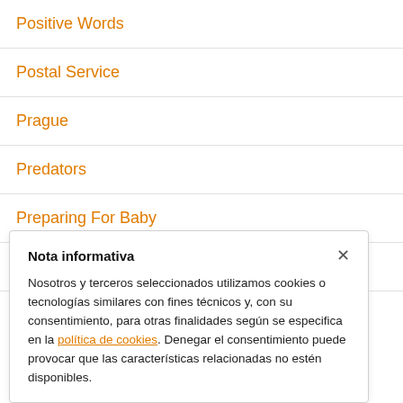Positive Words
Postal Service
Prague
Predators
Preparing For Baby
Preparing For Guests
Nota informativa
Nosotros y terceros seleccionados utilizamos cookies o tecnologías similares con fines técnicos y, con su consentimiento, para otras finalidades según se especifica en la política de cookies. Denegar el consentimiento puede provocar que las características relacionadas no estén disponibles.